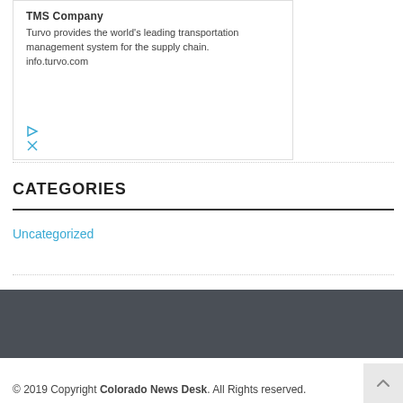TMS Company
Turvo provides the world's leading transportation management system for the supply chain.
info.turvo.com
CATEGORIES
Uncategorized
© 2019 Copyright Colorado News Desk. All Rights reserved.